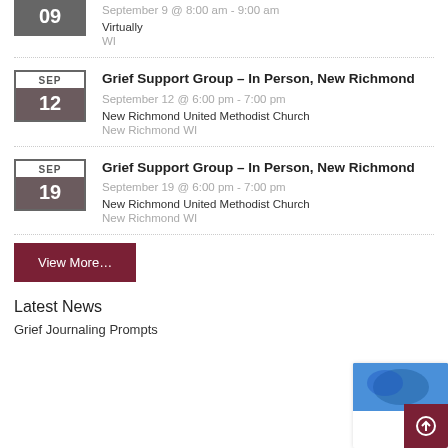09 | September 9 @ 8:00 am - 9:00 am | Virtually | WI
Grief Support Group – In Person, New Richmond | September 12 @ 6:00 pm - 7:00 pm | New Richmond United Methodist Church | New Richmond WI
Grief Support Group – In Person, New Richmond | September 19 @ 6:00 pm - 7:00 pm | New Richmond United Methodist Church | New Richmond WI
View More…
Latest News
Grief Journaling Prompts